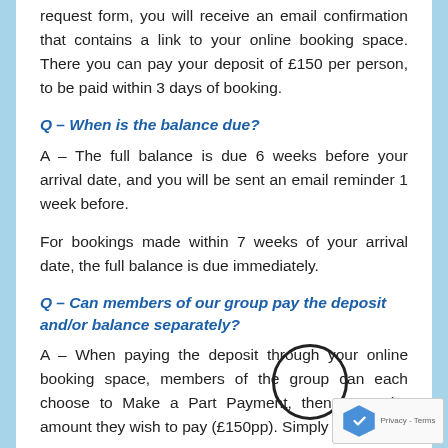request form, you will receive an email confirmation that contains a link to your online booking space. There you can pay your deposit of £150 per person, to be paid within 3 days of booking.
Q – When is the balance due?
A – The full balance is due 6 weeks before your arrival date, and you will be sent an email reminder 1 week before.
For bookings made within 7 weeks of your arrival date, the full balance is due immediately.
Q – Can members of our group pay the deposit and/or balance separately?
A – When paying the deposit through your online booking space, members of the group can each choose to Make a Part Payment, then enter the amount they wish to pay (£150pp). Simply share